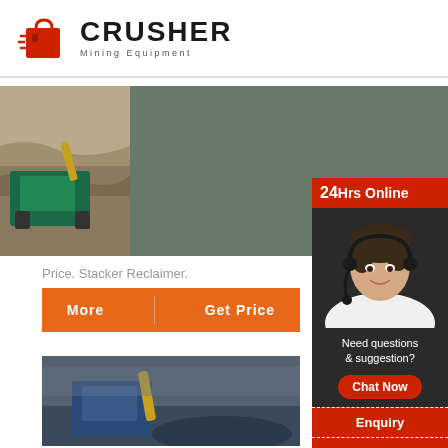[Figure (logo): Crusher Mining Equipment logo with red shopping bag icon and bold CRUSHER text]
[Figure (photo): Mining crusher machine processing rocks in an outdoor quarry site, dust visible]
Price. Stacker Reclaimer.
[Figure (infographic): Orange button row with More and Get Price buttons]
[Figure (photo): Second mining equipment photo in quarry]
Email c
[Figure (infographic): 24Hrs Online chat widget with female customer service agent wearing headset, Need questions & suggestion? prompt, Chat Now button, Enquiry section, limingjlmofen@sina.com email]
[Figure (photo): Third mining machinery photo, blue equipment visible]
[Figure (photo): Fourth mining equipment photo bottom right]